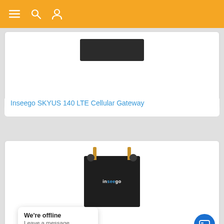Navigation bar with menu, search, and user icons
[Figure (photo): Inseego SKYUS 140 LTE Cellular Gateway product image — dark rectangular device]
Inseego SKYUS 140 LTE Cellular Gateway
[Figure (photo): Inseego SKYUS 140SV LTE Cellular Gateway product image — black box device with two gold antennas and mounting brackets]
We're offline
Leave a message
Inseego SKYUS 140SV LTE Cellular Gateway